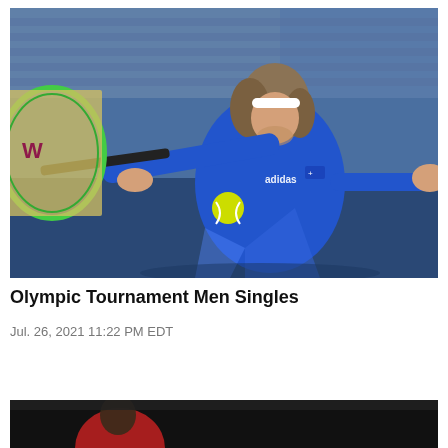[Figure (photo): Tennis player in blue Greek Olympic uniform striking a forehand shot with a Wilson racket, with a yellow tennis ball visible. Player has curly hair and a white headband.]
Olympic Tournament Men Singles
Jul. 26, 2021 11:22 PM EDT
[Figure (photo): Partial photo at bottom of page, dark background with what appears to be another tennis player.]